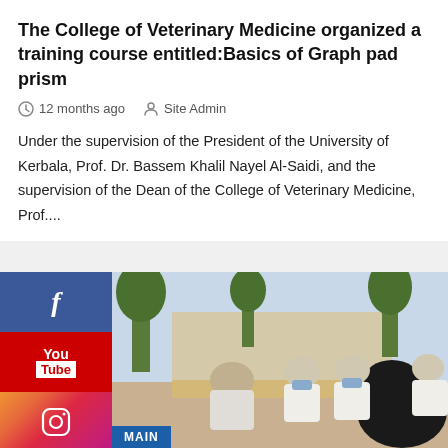The College of Veterinary Medicine organized a training course entitled:Basics of Graph pad prism
12 months ago   Site Admin
Under the supervision of the President of the University of Kerbala, Prof. Dr. Bassem Khalil Nayel Al-Saidi, and the supervision of the Dean of the College of Veterinary Medicine, Prof....
[Figure (photo): Group of people wearing white coats and face masks gathered around a table outdoors, with trees in the background. A woman in a black abaya is visible in the foreground.]